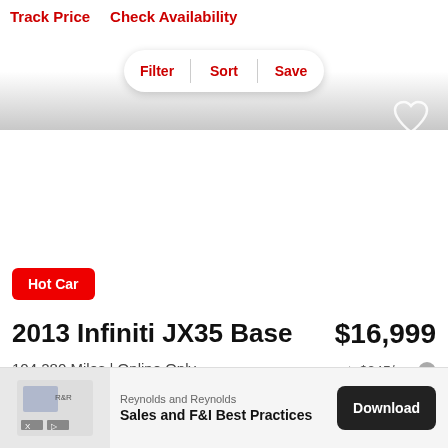Track Price   Check Availability
Filter  Sort  Save
Hot Car
2013 Infiniti JX35 Base
$16,999
104,280 Miles | Online Only
est. $245/mo
[Figure (other): Advertisement banner for Reynolds and Reynolds: Sales and F&I Best Practices with a Download button]